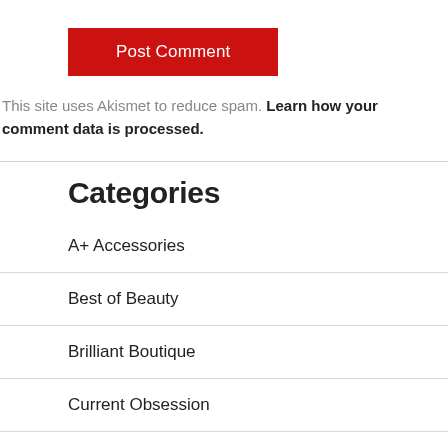[Figure (other): Red 'Post Comment' button]
This site uses Akismet to reduce spam. Learn how your comment data is processed.
Categories
A+ Accessories
Best of Beauty
Brilliant Boutique
Current Obsession
Fashion